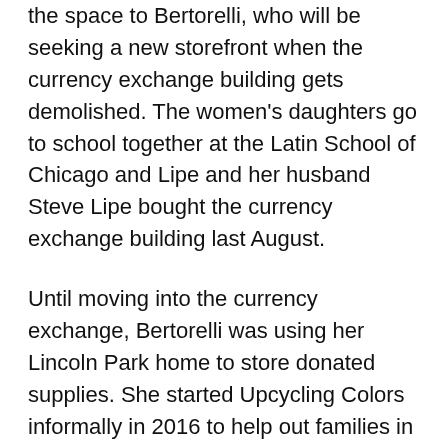the space to Bertorelli, who will be seeking a new storefront when the currency exchange building gets demolished. The women's daughters go to school together at the Latin School of Chicago and Lipe and her husband Steve Lipe bought the currency exchange building last August.
Until moving into the currency exchange, Bertorelli was using her Lincoln Park home to store donated supplies. She started Upcycling Colors informally in 2016 to help out families in Argentina, where she's officially from, but as more and more families jumped on board to donate boxes and bags of barely used supplies, Bertorelli gradually expanded her reach.
[Figure (logo): Black circle with a white square containing a bold letter B]
Upcycling Colors officially became a nonprofit